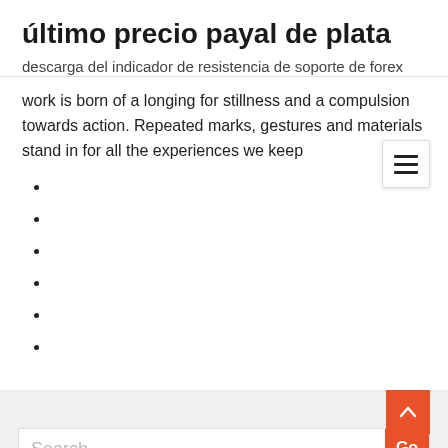último precio payal de plata
descarga del indicador de resistencia de soporte de forex
work is born of a longing for stillness and a compulsion towards action. Repeated marks, gestures and materials stand in for all the experiences we keep
Search